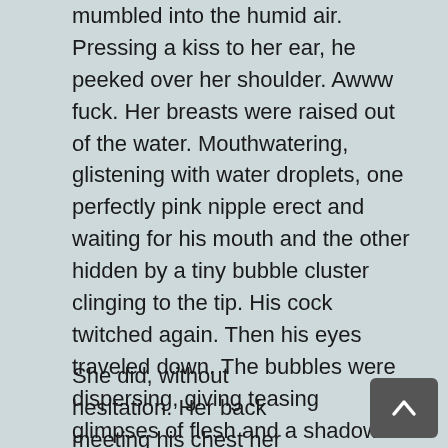mumbled into the humid air. Pressing a kiss to her ear, he peeked over her shoulder. Awww fuck. Her breasts were raised out of the water. Mouthwatering, glistening with water droplets, one perfectly pink nipple erect and waiting for his mouth and the other hidden by a tiny bubble cluster clinging to the tip. His cock twitched again. Then his eyes traveled down. The bubbles were dispersing, giving teasing glimpses of flesh and a shadow of curls. Holy Shit, this was heaven and hell and damn, he needed to feel more of her, “Lay back, kitten.”
She did, without hesitation. Her back meeting his chest her head lolled to the side. He wrapped one arm around the front of her neck